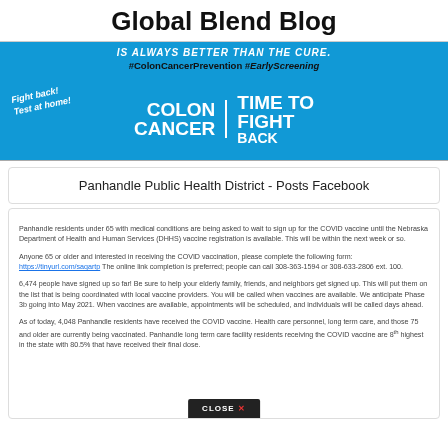Global Blend Blog
[Figure (photo): Blue promotional banner for Colon Cancer awareness with text 'IS ALWAYS BETTER THAN THE CURE. #ColonCancerPrevention #EarlyScreening', 'Fight back! Test at home!', 'COLON CANCER | TIME TO FIGHT BACK']
Panhandle Public Health District - Posts Facebook
Panhandle residents under 65 with medical conditions are being asked to wait to sign up for the COVID vaccine until the Nebraska Department of Health and Human Services (DHHS) vaccine registration is available. This will be within the next week or so.

Anyone 65 or older and interested in receiving the COVID vaccination, please complete the following form: https://tinyurl.com/saqartp The online link completion is preferred; people can call 308-363-1594 or 308-633-2806 ext. 100.

6,474 people have signed up so far! Be sure to help your elderly family, friends, and neighbors get signed up. This will put them on the list that is being coordinated with local vaccine providers. You will be called when vaccines are available. We anticipate Phase 3b going into May 2021. When vaccines are available, appointments will be scheduled, and individuals will be called days ahead.

As of today, 4,048 Panhandle residents have received the COVID vaccine. Health care personnel, long term care, and those 75 and older are currently being vaccinated. Panhandle long term care facility residents receiving the COVID vaccine are 8th highest in the state with 80.5% that have received their final dose.